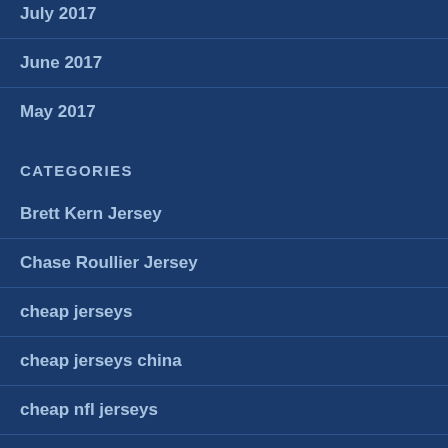July 2017
June 2017
May 2017
CATEGORIES
Brett Kern Jersey
Chase Roullier Jersey
cheap jerseys
cheap jerseys china
cheap nfl jerseys
Chris Wormley Jersey